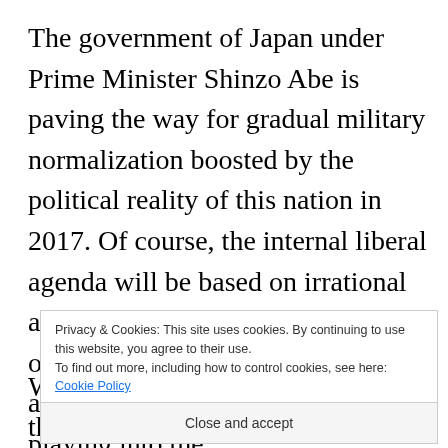The government of Japan under Prime Minister Shinzo Abe is paving the way for gradual military normalization boosted by the political reality of this nation in 2017. Of course, the internal liberal agenda will be based on irrational anti-Japanese militarization based on scare mongering. Ironically, the anti-militarization camp is only playing into the
Privacy & Cookies: This site uses cookies. By continuing to use this website, you agree to their use. To find out more, including how to control cookies, see here: Cookie Policy
Close and accept
Washington. Therefore, it is hoped that Japan